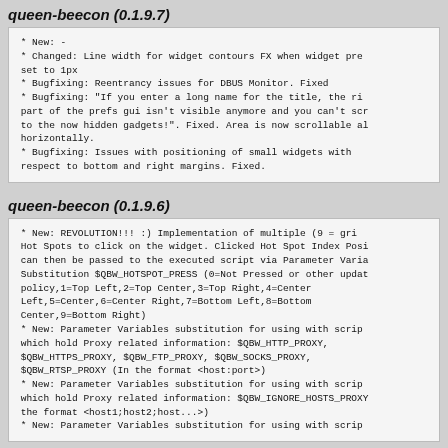queen-beecon (0.1.9.7)
* New: -
 * Changed: Line width for widget contours FX when widget pre set to 1px
 * Bugfixing: Reentrancy issues for DBUS Monitor. Fixed
 * Bugfixing: "If you enter a long name for the title, the ri part of the prefs gui isn't visible anymore and you can't scr to the now hidden gadgets!". Fixed. Area is now scrollable al horizontally.
 * Bugfixing: Issues with positioning of small widgets with respect to bottom and right margins. Fixed.
queen-beecon (0.1.9.6)
* New: REVOLUTION!!! :) Implementation of multiple (9 = gri Hot Spots to click on the widget. Clicked Hot Spot Index Posi can then be passed to the executed script via Parameter Varia Substitution $QBW_HOTSPOT_PRESS (0=Not Pressed or other updat policy,1=Top Left,2=Top Center,3=Top Right,4=Center Left,5=Center,6=Center Right,7=Bottom Left,8=Bottom Center,9=Bottom Right)
 * New: Parameter Variables substitution for using with scrip which hold Proxy related information: $QBW_HTTP_PROXY, $QBW_HTTPS_PROXY, $QBW_FTP_PROXY, $QBW_SOCKS_PROXY, $QBW_RTSP_PROXY (In the format <host:port>)
 * New: Parameter Variables substitution for using with scrip which hold Proxy related information: $QBW_IGNORE_HOSTS_PROXY the format <host1;host2;host...>)
 * New: Parameter Variables substitution for using with scrip